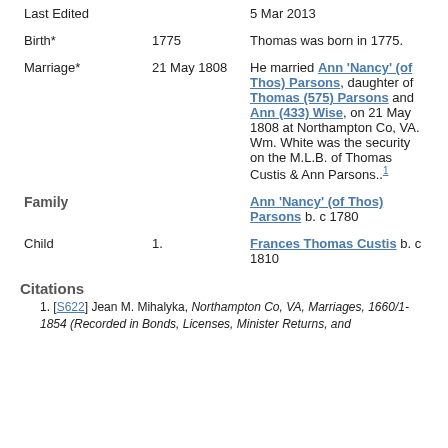| Event | Date | Details |
| --- | --- | --- |
| Last Edited |  | 5 Mar 2013 |
| Birth* | 1775 | Thomas was born in 1775. |
| Marriage* | 21 May 1808 | He married Ann 'Nancy' (of Thos) Parsons, daughter of Thomas (575) Parsons and Ann (433) Wise, on 21 May 1808 at Northampton Co, VA. Wm. White was the security on the M.L.B. of Thomas Custis & Ann Parsons..1 |
| Family |  | Ann 'Nancy' (of Thos) Parsons b. c 1780 |
| Child | 1. | Frances Thomas Custis b. c 1810 |
Citations
1. [S622] Jean M. Mihalyka, Northampton Co, VA, Marriages, 1660/1-1854 (Recorded in Bonds, Licenses, Minister Returns, and